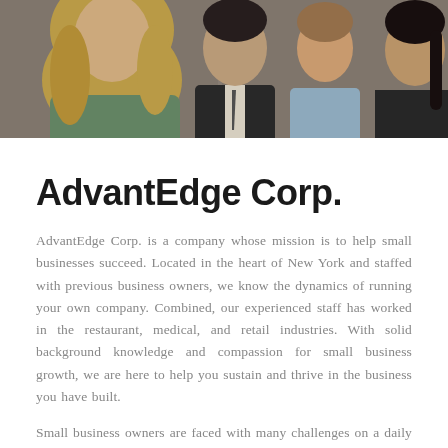[Figure (photo): Cropped photo strip showing group of business people, partially visible from shoulders up. Includes a woman with long blonde hair in a green top on the left, a man in a dark suit in the center, a person in a light blue shirt, and a woman with a dark braid on the right.]
AdvantEdge Corp.
AdvantEdge Corp. is a company whose mission is to help small businesses succeed. Located in the heart of New York and staffed with previous business owners, we know the dynamics of running your own company. Combined, our experienced staff has worked in the restaurant, medical, and retail industries. With solid background knowledge and compassion for small business growth, we are here to help you sustain and thrive in the business you have built.
Small business owners are faced with many challenges on a daily basis. Competition, growth, and the economy greatly impact every decision you are faced with. Often, you need immediate financial help to sustain your business. AdvantEdge Corp. knows the importance of immediacy for small businesses and offers a range of financing and payment